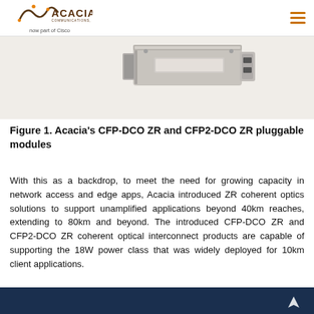Acacia Communications, Inc. — now part of Cisco
[Figure (photo): Photo of Acacia CFP-DCO ZR and CFP2-DCO ZR pluggable optical modules, metallic silver hardware components shown from an angled top view against a light background.]
Figure 1. Acacia's CFP-DCO ZR and CFP2-DCO ZR pluggable modules
With this as a backdrop, to meet the need for growing capacity in network access and edge apps, Acacia introduced ZR coherent optics solutions to support unamplified applications beyond 40km reaches, extending to 80km and beyond. The introduced CFP-DCO ZR and CFP2-DCO ZR coherent optical interconnect products are capable of supporting the 18W power class that was widely deployed for 10km client applications.